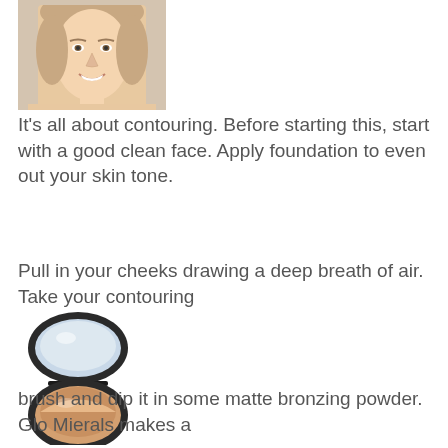[Figure (photo): Portrait photo of a smiling young woman with light brown hair pulled up, wearing what appears to be a light-colored outfit, photographed from roughly shoulders up]
It's all about contouring. Before starting this, start with a good clean face. Apply foundation to even out your skin tone.
Pull in your cheeks drawing a deep breath of air. Take your contouring
[Figure (photo): A double-decker makeup compact with a mirror lid (light blue/grey) on top and a matte bronzing powder (tan/beige with highlight) in the bottom pan, with a thick black rim]
brush and dip it in some matte bronzing powder. Glo Mierals makes a